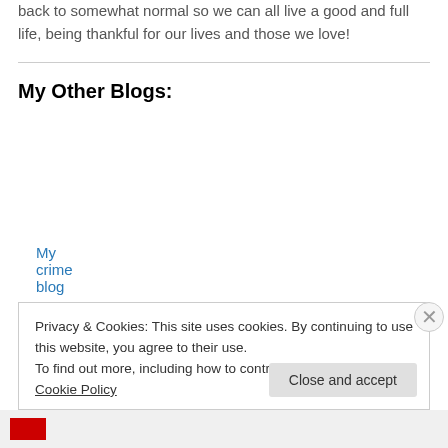back to somewhat normal so we can all live a good and full life, being thankful for our lives and those we love!
My Other Blogs:
My crime blog
My recipe blog
My sports blog
My Bears and Blackhawks blog
Privacy & Cookies: This site uses cookies. By continuing to use this website, you agree to their use. To find out more, including how to control cookies, see here: Cookie Policy
Close and accept